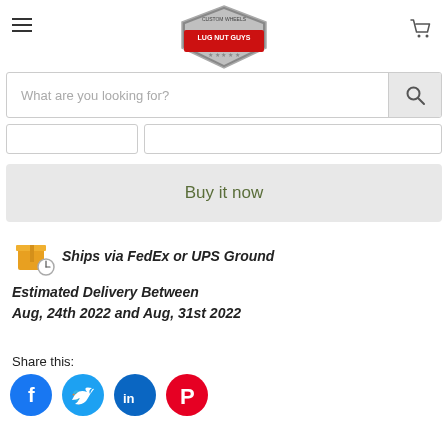[Figure (logo): Lug Nut Guys custom wheels logo — shield shape with red banner and silver metallic design]
What are you looking for?
Ships via FedEx or UPS Ground
Estimated Delivery Between Aug, 24th 2022 and Aug, 31st 2022
Share this:
[Figure (infographic): Social share icons: Facebook (blue circle), Twitter (light blue circle), LinkedIn (dark blue circle), Pinterest (red circle with white P)]